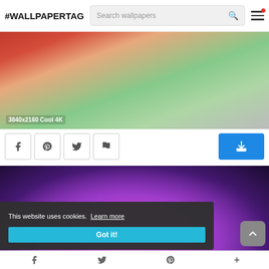#WALLPAPERTAG  [Search wallpapers]
[Figure (photo): Cropped photo showing people with colorful clothes near an inflatable structure. Label reads: 3840x2160 Cool 4K]
[Figure (other): Social sharing buttons row: Facebook, Pinterest, Twitter, Flag icons; Download button (blue) on right]
[Figure (photo): Close-up photo of a person with pink/magenta hair, dark purple background]
This website uses cookies.  Learn more
Got it!
Facebook  Twitter  Pinterest  +